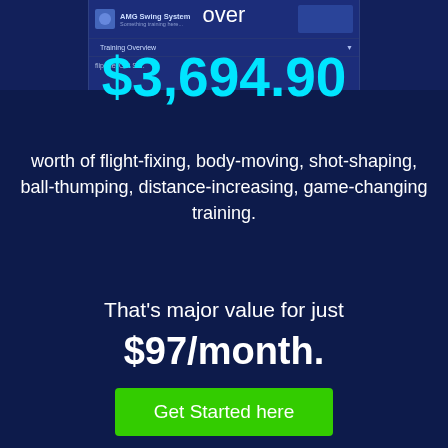[Figure (screenshot): Screenshot of a golf training app interface showing AMG Swing System and Training Overview items]
over
$3,694.90
worth of flight-fixing, body-moving, shot-shaping, ball-thumping, distance-increasing, game-changing training.
That's major value for just
$97/month.
Get Started here